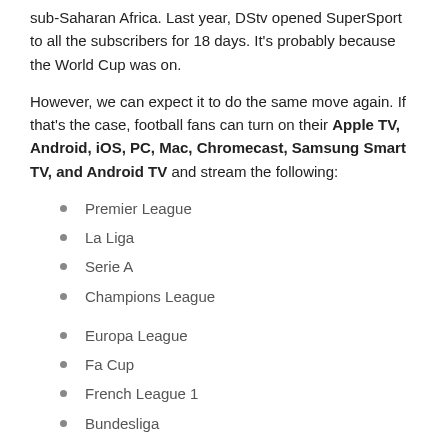sub-Saharan Africa. Last year, DStv opened SuperSport to all the subscribers for 18 days. It's probably because the World Cup was on.
However, we can expect it to do the same move again. If that's the case, football fans can turn on their Apple TV, Android, iOS, PC, Mac, Chromecast, Samsung Smart TV, and Android TV and stream the following:
Premier League
La Liga
Serie A
Champions League
Europa League
Fa Cup
French League 1
Bundesliga
Portuguese Liga